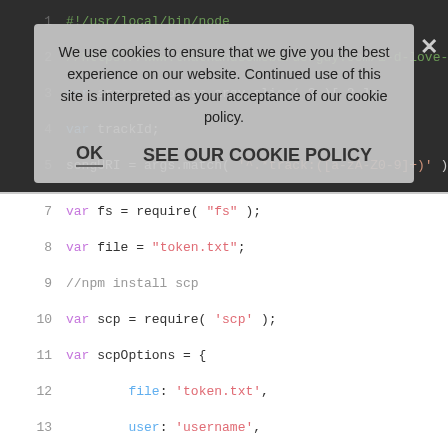[Figure (screenshot): Code editor screenshot showing JavaScript code with line numbers. Lines 1-6 shown on dark background (partially obscured by cookie consent overlay). Lines 7-19 shown on white background. Code includes Node.js script with scp file transfer setup.]
We use cookies to ensure that we give you the best experience on our website. Continued use of this site is interpreted as your acceptance of our cookie policy.
OK   SEE OUR COOKIE POLICY